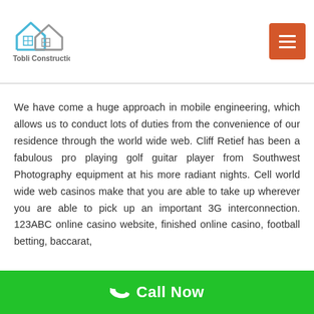[Figure (logo): Tobli Construction logo with house outline and grid window icon in blue/grey]
We have come a huge approach in mobile engineering, which allows us to conduct lots of duties from the convenience of our residence through the world wide web. Cliff Retief has been a fabulous pro playing golf guitar player from Southwest Photography equipment at his more radiant nights. Cell world wide web casinos make that you are able to take up wherever you are able to pick up an important 3G interconnection. 123ABC online casino website, finished online casino, football betting, baccarat,
Call Now